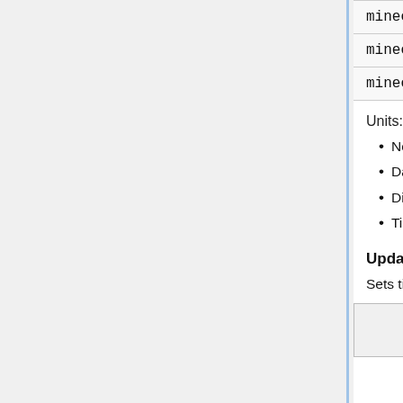| minecraft.open_chest |
| minecraft.sleep_in_bed |
| minecraft.open_shulker_box |
Units:
None: just a normal number (formatted with 0 decimal places)
Damage: value is 10 times the normal amount
Distance: a distance in centimeters (hundredths of blocks)
Time: a time span in ticks
Update Block Entity
Sets tile entity associated with the block at the given location.
| Packet ID | State | Bound To | Field Name | Field Type |
| --- | --- | --- | --- | --- |